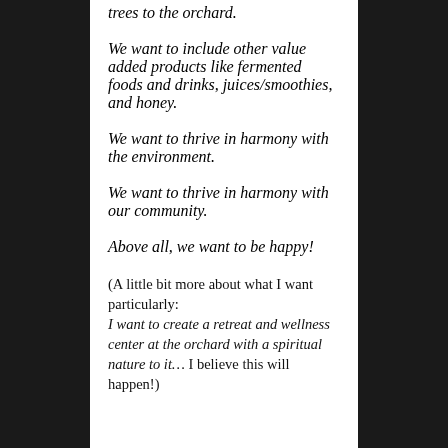trees to the orchard.
We want to include other value added products like fermented foods and drinks, juices/smoothies, and honey.
We want to thrive in harmony with the environment.
We want to thrive in harmony with our community.
Above all, we want to be happy!
(A little bit more about what I want particularly: I want to create a retreat and wellness center at the orchard with a spiritual nature to it… I believe this will happen!)